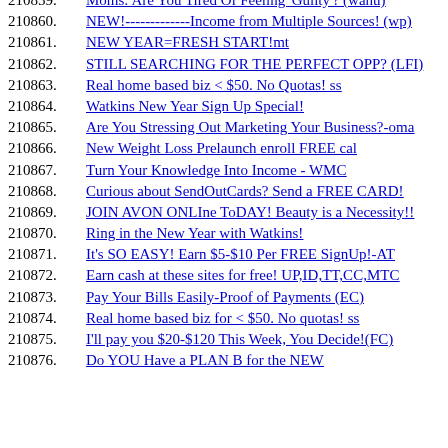210859. Moms: Are You Tired Of Feeling 'Guilty'? (wahu)
210860. NEW!-------------Income from Multiple Sources! (wp)
210861. NEW YEAR=FRESH START!mt
210862. STILL SEARCHING FOR THE PERFECT OPP? (LFI)
210863. Real home based biz < $50. No Quotas! ss
210864. Watkins New Year Sign Up Special!
210865. Are You Stressing Out Marketing Your Business?-oma
210866. New Weight Loss Prelaunch enroll FREE cal
210867. Turn Your Knowledge Into Income - WMC
210868. Curious about SendOutCards? Send a FREE CARD!
210869. JOIN AVON ONLIne ToDAY! Beauty is a Necessity!!
210870. Ring in the New Year with Watkins!
210871. It's SO EASY! Earn $5-$10 Per FREE SignUp!-AT
210872. Earn cash at these sites for free! UP,ID,TT,CC,MTC
210873. Pay Your Bills Easily-Proof of Payments (EC)
210874. Real home based biz for < $50. No quotas! ss
210875. I'll pay you $20-$120 This Week, You Decide!(FC)
210876. Do YOU Have a PLAN B for the NEW